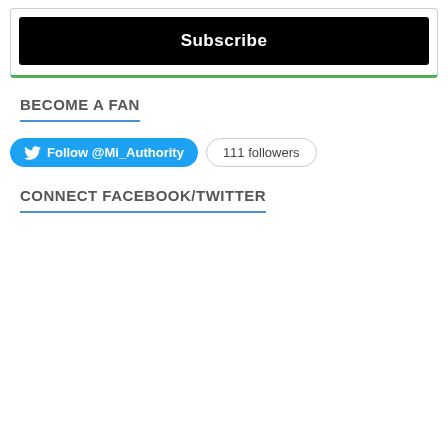[Figure (other): Subscribe button inside a bordered box with green bottom border]
BECOME A FAN
[Figure (other): Twitter Follow @Mi_Authority button with 111 followers badge]
CONNECT FACEBOOK/TWITTER